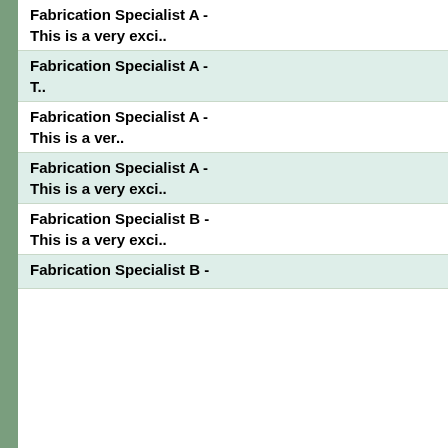Fabrication Specialist A -
This is a very exci..
Fabrication Specialist A -
T..
Fabrication Specialist A -
This is a ver..
Fabrication Specialist A -
This is a very exci..
Fabrication Specialist B -
This is a very exci..
Fabrication Specialist B -